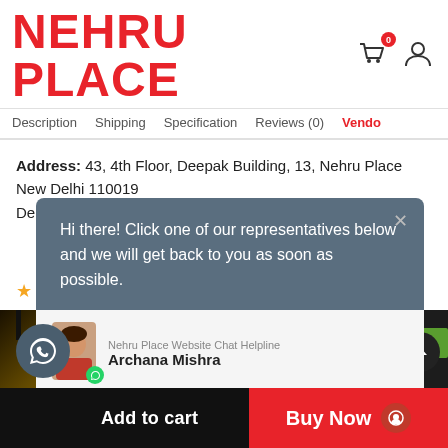NEHRU PLACE
Description  Shipping  Specification  Reviews (0)  Vendor
Address: 43, 4th Floor, Deepak Building, 13, Nehru Place New Delhi 110019
Delhi
[Figure (screenshot): Chat popup with message: Hi there! Click one of our representatives below and we will get back to you as soon as possible. Agent card showing Nehru Place Website Chat Helpline with Archana Mishra.]
[Figure (photo): Product images - left shows gold dust on dark background, right shows a black headset/device]
Add to cart
Buy Now